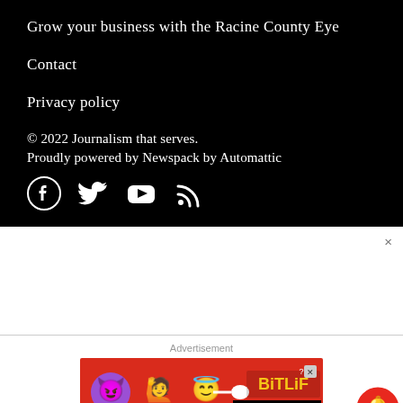Grow your business with the Racine County Eye
Contact
Privacy policy
© 2022 Journalism that serves.
Proudly powered by Newspack by Automattic
[Figure (infographic): Social media icons: Facebook, Twitter, YouTube, RSS feed — white icons on black background]
[Figure (infographic): White section with close button (x) in top right corner]
Advertisement
[Figure (infographic): BitLife advertisement banner on red background with devil emoji, woman with raised hands emoji, angel emoji, and BitLife logo with 'REAL CHOICE' text]